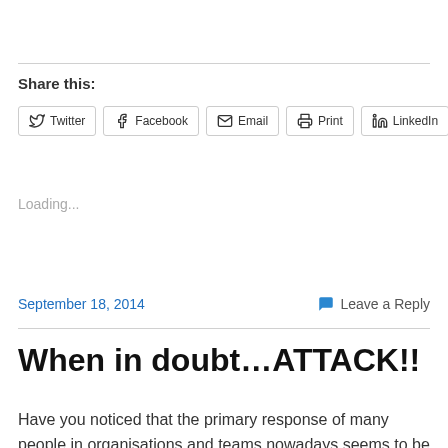Share this:
Twitter  Facebook  Email  Print  LinkedIn
Loading...
September 18, 2014    Leave a Reply
When in doubt…ATTACK!!
Have you noticed that the primary response of many people in organisations and teams nowadays seems to be